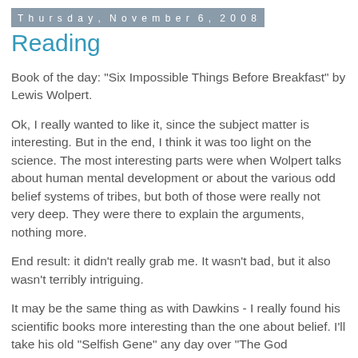Thursday, November 6, 2008
Reading
Book of the day: "Six Impossible Things Before Breakfast" by Lewis Wolpert.
Ok, I really wanted to like it, since the subject matter is interesting. But in the end, I think it was too light on the science. The most interesting parts were when Wolpert talks about human mental development or about the various odd belief systems of tribes, but both of those were really not very deep. They were there to explain the arguments, nothing more.
End result: it didn't really grab me. It wasn't bad, but it also wasn't terribly intriguing.
It may be the same thing as with Dawkins - I really found his scientific books more interesting than the one about belief. I'll take his old "Selfish Gene" any day over "The God Delusion".